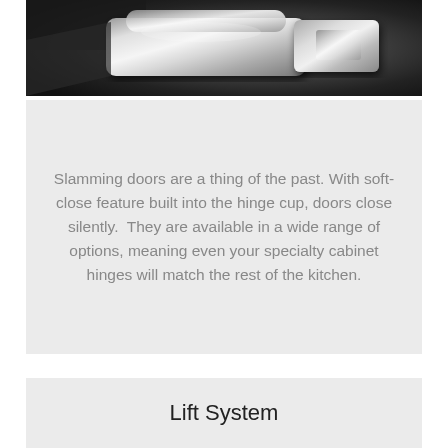[Figure (photo): Close-up photo of a chrome/silver metal hinge mechanism against a dark background]
Slamming doors are a thing of the past. With soft-close feature built into the hinge cup, doors close silently.  They are available in a wide range of options, meaning even your specialty cabinet hinges will match the rest of the kitchen.
Lift System